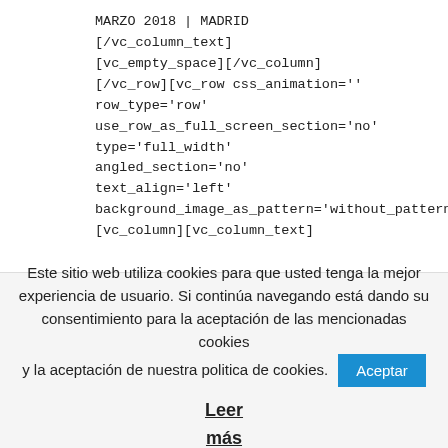MARZO 2018 | MADRID
[/vc_column_text]
[vc_empty_space][/vc_column]
[/vc_row][vc_row css_animation=''
row_type='row'
use_row_as_full_screen_section='no'
type='full_width'
angled_section='no'
text_align='left'
background_image_as_pattern='without_pattern'
[vc_column][vc_column_text]
Este sitio web utiliza cookies para que usted tenga la mejor experiencia de usuario. Si continúa navegando está dando su consentimiento para la aceptación de las mencionadas cookies y la aceptación de nuestra politica de cookies.
Aceptar
Leer más